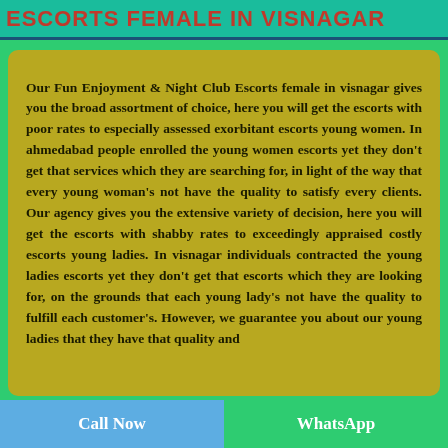ESCORTS FEMALE IN VISNAGAR
Our Fun Enjoyment & Night Club Escorts female in visnagar gives you the broad assortment of choice, here you will get the escorts with poor rates to especially assessed exorbitant escorts young women. In ahmedabad people enrolled the young women escorts yet they don't get that services which they are searching for, in light of the way that every young woman's not have the quality to satisfy every clients. Our agency gives you the extensive variety of decision, here you will get the escorts with shabby rates to exceedingly appraised costly escorts young ladies. In visnagar individuals contracted the young ladies escorts yet they don't get that escorts which they are looking for, on the grounds that each young lady's not have the quality to fulfill each customer's. However, we guarantee you about our young ladies that they have that quality and
Call Now    WhatsApp